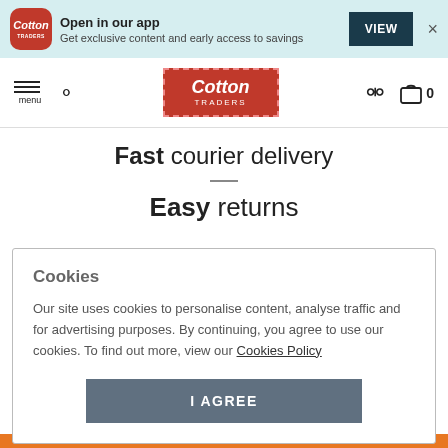[Figure (screenshot): App promotion banner with Cotton Traders logo icon, text 'Open in our app / Get exclusive content and early access to savings', a dark blue VIEW button, and an X close button, on a light teal background.]
[Figure (screenshot): Navigation bar with hamburger menu icon labeled 'menu', a search icon, Cotton Traders red logo in center, a location pin icon, and a shopping bag icon with '0'.]
Fast courier delivery
Easy returns
Cookies
Our site uses cookies to personalise content, analyse traffic and for advertising purposes. By continuing, you agree to use our cookies. To find out more, view our Cookies Policy
I AGREE